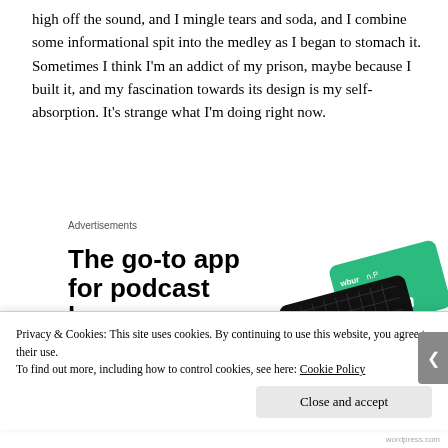high off the sound, and I mingle tears and soda, and I combine some informational spit into the medley as I began to stomach it. Sometimes I think I'm an addict of my prison, maybe because I built it, and my fascination towards its design is my self-absorption. It's strange what I'm doing right now.
Advertisements
[Figure (infographic): Advertisement for a podcast app. Headline: 'The go-to app for podcast lovers.' with 'Download now' in orange below. Right side shows a black card and green card with app branding.]
Privacy & Cookies: This site uses cookies. By continuing to use this website, you agree to their use.
To find out more, including how to control cookies, see here: Cookie Policy
Close and accept